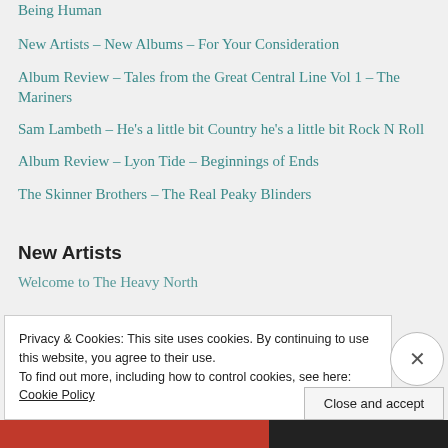Being Human
New Artists – New Albums – For Your Consideration
Album Review – Tales from the Great Central Line Vol 1 – The Mariners
Sam Lambeth – He's a little bit Country he's a little bit Rock N Roll
Album Review – Lyon Tide – Beginnings of Ends
The Skinner Brothers – The Real Peaky Blinders
New Artists
Welcome to The Heavy North
Privacy & Cookies: This site uses cookies. By continuing to use this website, you agree to their use.
To find out more, including how to control cookies, see here: Cookie Policy
Close and accept